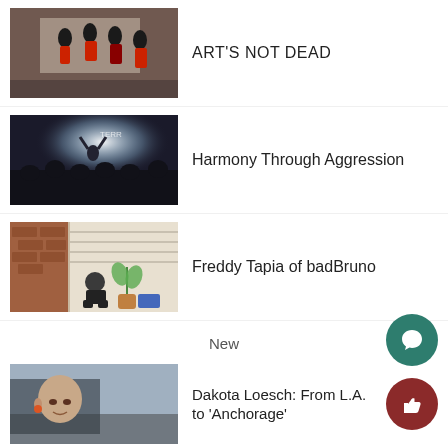[Figure (photo): Flamenco dancers performing outdoors in black and red dresses]
ART'S NOT DEAD
[Figure (photo): Concert crowd with bright stage lights and performers]
Harmony Through Aggression
[Figure (photo): Man sitting outside a house with a potted plant]
Freddy Tapia of badBruno
New
[Figure (photo): Bald man looking out of a car window]
Dakota Loesch: From L.A. to 'Anchorage'